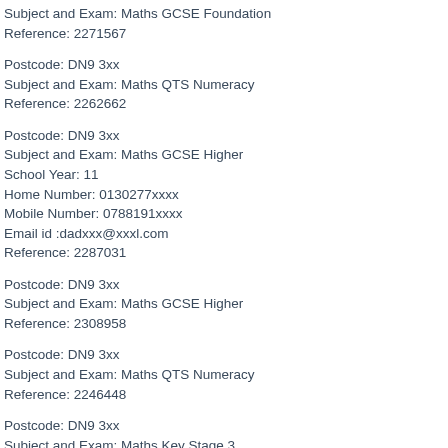Subject and Exam: Maths GCSE Foundation
Reference: 2271567
Postcode: DN9 3xx
Subject and Exam: Maths QTS Numeracy
Reference: 2262662
Postcode: DN9 3xx
Subject and Exam: Maths GCSE Higher
School Year: 11
Home Number: 0130277xxxx
Mobile Number: 0788191xxxx
Email id :dadxxx@xxxl.com
Reference: 2287031
Postcode: DN9 3xx
Subject and Exam: Maths GCSE Higher
Reference: 2308958
Postcode: DN9 3xx
Subject and Exam: Maths QTS Numeracy
Reference: 2246448
Postcode: DN9 3xx
Subject and Exam: Maths Key Stage 3